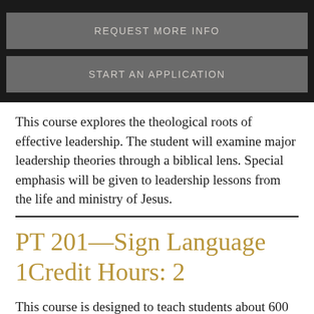REQUEST MORE INFO
START AN APPLICATION
This course explores the theological roots of effective leadership. The student will examine major leadership theories through a biblical lens. Special emphasis will be given to leadership lessons from the life and ministry of Jesus.
PT 201—Sign Language 1Credit Hours: 2
This course is designed to teach students about 600 signs to allow them to communicate with the Deaf. Students will also sign a song, story, Bible lesson, and